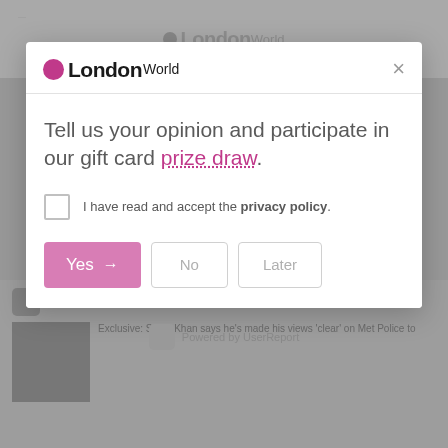[Figure (screenshot): Background website page showing LondonWorld logo and article thumbnails, grayed out behind modal overlay]
LondonWorld
Tell us your opinion and participate in our gift card prize draw.
I have read and accept the privacy policy.
Yes → No Later
Powered by UserReport